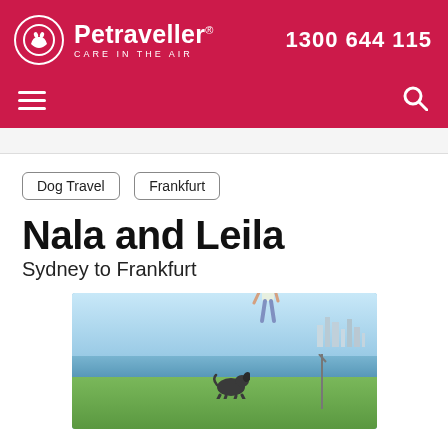Petraveller® CARE IN THE AIR — 1300 644 115
Dog Travel
Frankfurt
Nala and Leila
Sydney to Frankfurt
[Figure (photo): A woman bending down toward a dog in a park with a waterfront city skyline in the background on a sunny day.]